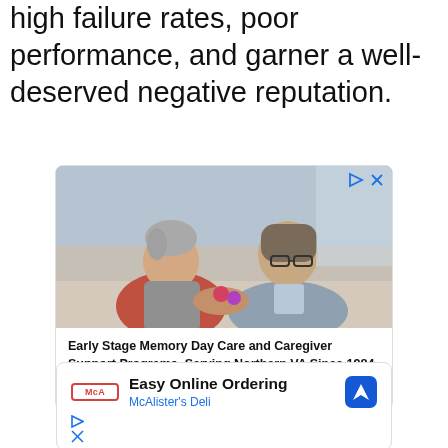high failure rates, poor performance, and garner a well-deserved negative reputation.
[Figure (photo): Advertisement: Two women, an elderly woman and a middle-aged caregiver with glasses, sitting together looking at something. Ad for Insight Memory Care.]
Early Stage Memory Day Care and Caregiver Support Programs, Serving Northern VA Since 1984
Insight Memory Care   Open >
[Figure (logo): Advertisement: McAlister's Deli ad with logo, text 'Easy Online Ordering' and 'McAlister's Deli', with navigation icon and ad control icons.]